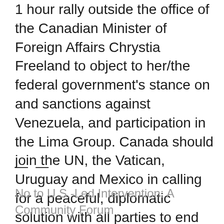1 hour rally outside the office of the Canadian Minister of Foreign Affairs Chrystia Freeland to object to her/the federal government's stance on and sanctions against Venezuela, and participation in the Lima Group. Canada should join the UN, the Vatican, Uruguay and Mexico in calling for a peaceful, diplomatic solution with all parties to end the political crisis and lift the sanctions on Venezuela
— —
No to U.S.-Led Intervention: A Community Forum